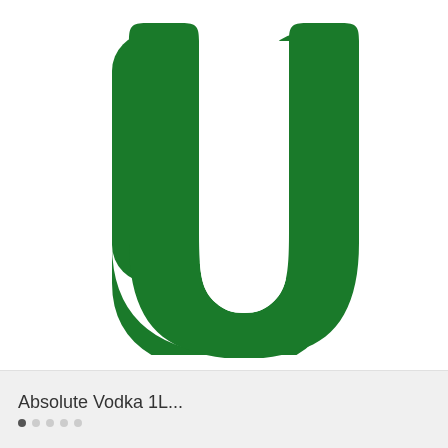[Figure (logo): Large green letter U shape (horseshoe/U shape) on white background, rendered in solid dark green color with rounded tops on both arms]
Absolute Vodka 1L...